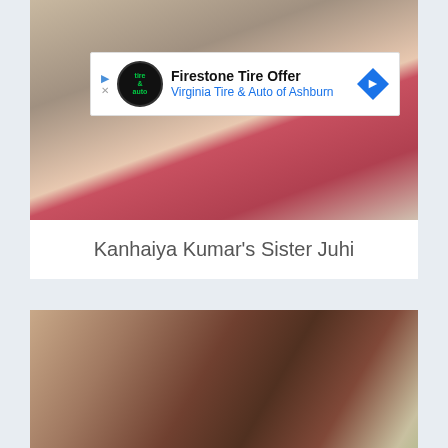[Figure (photo): Outdoor photo showing a person in a red/pink outfit near marble steps and a bicycle, trees in background. Has an ad overlay for Firestone Tire Offer.]
Kanhaiya Kumar's Sister Juhi
[Figure (photo): Close-up photo of a man's face looking sideways, with a statue and greenery in the background. Has Advertisement label and Firestone Tire Offer ad below.]